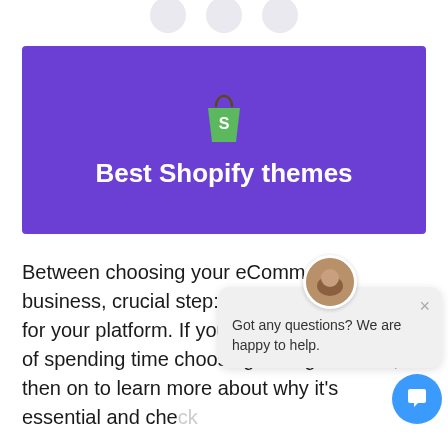[Figure (illustration): Three partially visible circular social share or navigation icons at the top of the page]
[Figure (illustration): Purple hero banner with Shopify bag logo and title 'Best Shopify themes']
Best Shopify themes
Between choosing your eCommerce business, crucial step: picking the for your platform. If you have never thought of spending time choosing the right theme, then on to learn more about why it's essential and check
[Figure (screenshot): Chat widget popup showing an avatar, close button, and text 'Got any questions? We are happy to help.' with a blue circular chat button below]